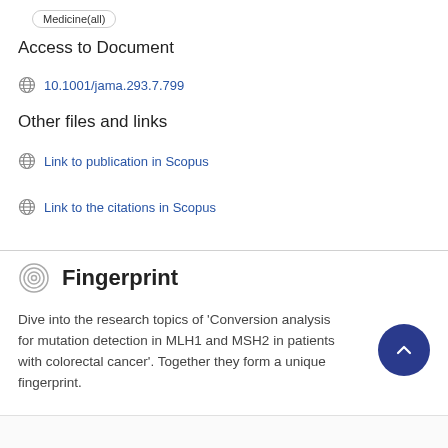Medicine(all)
Access to Document
10.1001/jama.293.7.799
Other files and links
Link to publication in Scopus
Link to the citations in Scopus
Fingerprint
Dive into the research topics of 'Conversion analysis for mutation detection in MLH1 and MSH2 in patients with colorectal cancer'. Together they form a unique fingerprint.